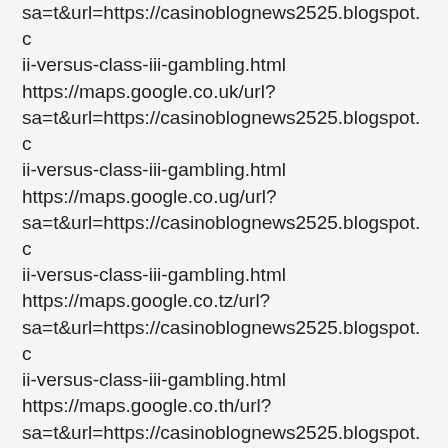sa=t&url=https://casinoblognews2525.blogspot.c ii-versus-class-iii-gambling.html https://maps.google.co.uk/url? sa=t&url=https://casinoblognews2525.blogspot.c ii-versus-class-iii-gambling.html https://maps.google.co.ug/url? sa=t&url=https://casinoblognews2525.blogspot.c ii-versus-class-iii-gambling.html https://maps.google.co.tz/url? sa=t&url=https://casinoblognews2525.blogspot.c ii-versus-class-iii-gambling.html https://maps.google.co.th/url? sa=t&url=https://casinoblognews2525.blogspot.c ii-versus-class-iii-gambling.html https://maps.google.co.nz/url?